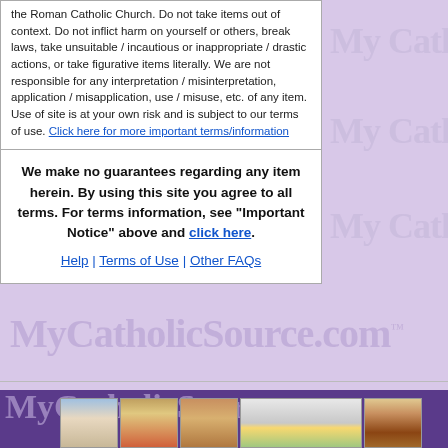the Roman Catholic Church. Do not take items out of context. Do not inflict harm on yourself or others, break laws, take unsuitable / incautious or inappropriate / drastic actions, or take figurative items literally. We are not responsible for any interpretation / misinterpretation, application / misapplication, use / misuse, etc. of any item. Use of site is at your own risk and is subject to our terms of use. Click here for more important terms/information
We make no guarantees regarding any item herein. By using this site you agree to all terms. For terms information, see "Important Notice" above and click here.
Help | Terms of Use | Other FAQs
[Figure (logo): MyCatholicSource.com logo watermark text repeated across lavender background]
[Figure (photo): Row of Catholic religious items: figurines (Mary, Jesus, saints), medal jewelry grouping, and a crucifix]